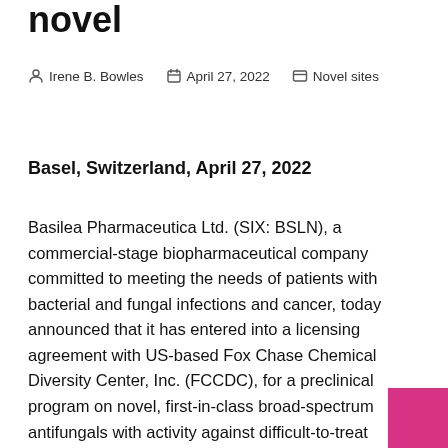novel
Irene B. Bowles   April 27, 2022   Novel sites
Basel, Switzerland, April 27, 2022
Basilea Pharmaceutica Ltd. (SIX: BSLN), a commercial-stage biopharmaceutical company committed to meeting the needs of patients with bacterial and fungal infections and cancer, today announced that it has entered into a licensing agreement with US-based Fox Chase Chemical Diversity Center, Inc. (FCCDC), for a preclinical program on novel, first-in-class broad-spectrum antifungals with activity against difficult-to-treat